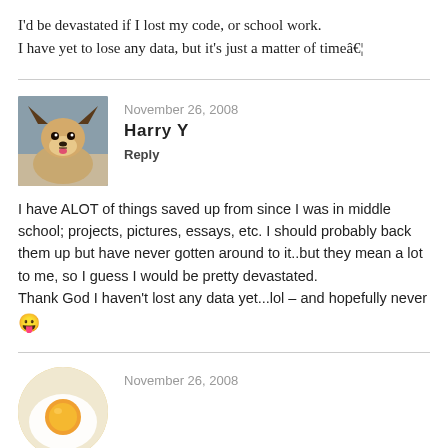I'd be devastated if I lost my code, or school work.
I have yet to lose any data, but it's just a matter of timeâ€¦
November 26, 2008
Harry Y
Reply
I have ALOT of things saved up from since I was in middle school; projects, pictures, essays, etc. I should probably back them up but have never gotten around to it..but they mean a lot to me, so I guess I would be pretty devastated.
Thank God I haven't lost any data yet...lol – and hopefully never 😛
November 26, 2008